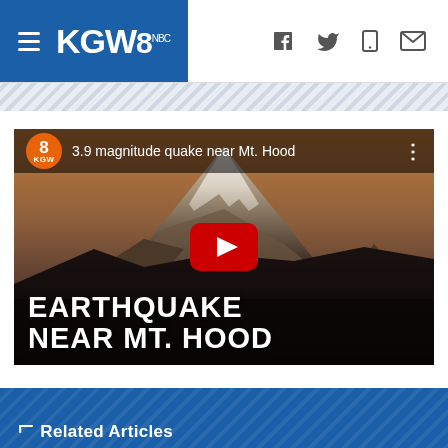KGW8 - navigation header with hamburger menu, logo, and social icons (Facebook, Twitter, mobile, email)
[Figure (screenshot): YouTube embedded video thumbnail showing Mt. Hood with snow-capped peak at dusk. Video title bar reads '3.9 magnitude quake near Mt. Hood' with KGW8 channel icon. Red YouTube play button in center. Text overlay reads 'EARTHQUAKE NEAR MT. HOOD' in bold white uppercase letters.]
Related Articles